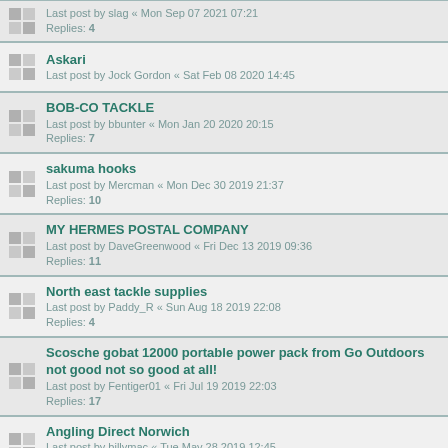Last post by slag « Mon Sep 07 2021 07:21
Replies: 4
Askari
Last post by Jock Gordon « Sat Feb 08 2020 14:45
BOB-CO TACKLE
Last post by bbunter « Mon Jan 20 2020 20:15
Replies: 7
sakuma hooks
Last post by Mercman « Mon Dec 30 2019 21:37
Replies: 10
MY HERMES POSTAL COMPANY
Last post by DaveGreenwood « Fri Dec 13 2019 09:36
Replies: 11
North east tackle supplies
Last post by Paddy_R « Sun Aug 18 2019 22:08
Replies: 4
Scosche gobat 12000 portable power pack from Go Outdoors not good not so good at all!
Last post by Fentiger01 « Fri Jul 19 2019 22:03
Replies: 17
Angling Direct Norwich
Last post by billymac « Tue May 28 2019 12:45
Replies: 1
Catmaster net
Last post by Graham « Tue May 21 2019 22:11
Replies: 2
chub rs plus chair.
Last post by Mike_1 « Wed Sep 19 2018 13:34